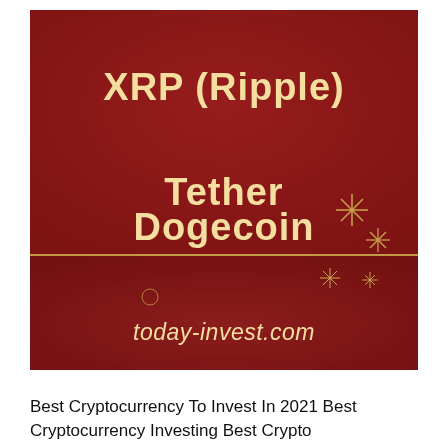[Figure (illustration): Dark red background promotional image for cryptocurrency investing website today-invest.com, featuring the text XRP (Ripple), Tether, Dogecoin in golden/cream color with sparkle decorations and a horizontal gold divider line.]
Best Cryptocurrency To Invest In 2021 Best Cryptocurrency Investing Best Crypto